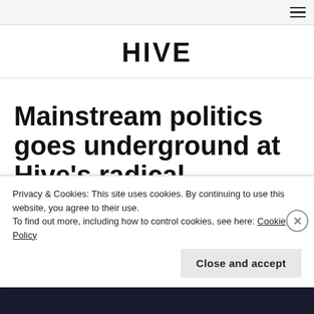HIVE
Mainstream politics goes underground at Hive’s radical mayoral hustings
Privacy & Cookies: This site uses cookies. By continuing to use this website, you agree to their use.
To find out more, including how to control cookies, see here: Cookie Policy
Close and accept